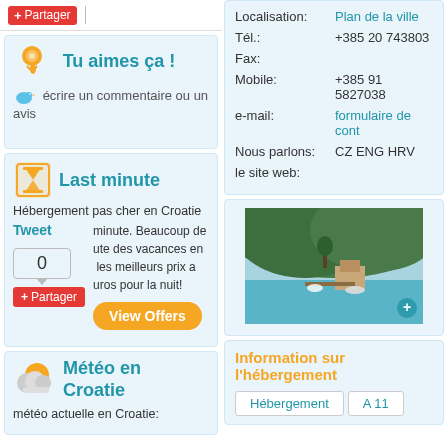+ Partager
Tu aimes ça !
écrire un commentaire ou un avis
Last minute
Hébergement pas cher en Croatie
minute. Beaucoup de ute des vacances en les meilleurs prix a uros pour la nuit!
Tweet
0
View Offers
+ Partager
Météo en Croatie
météo actuelle en Croatie:
Localisation:
Plan de la ville
Tél.:
+385 20 743803
Fax:
Mobile:
+385 91 5827038
e-mail:
formulaire de cont
Nous parlons:
CZ ENG HRV
le site web:
[Figure (photo): Coastal scene with green hills and buildings near water]
Information sur l'hébergement
Hébergement
A 11